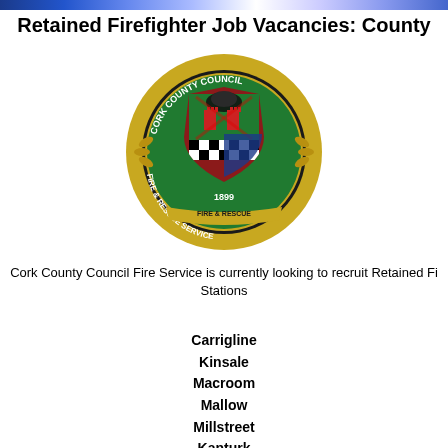Retained Firefighter Job Vacancies: County
[Figure (logo): Cork County Council Fire & Rescue Service circular logo/crest featuring a shield with heraldic imagery, laurel wreath border, and text reading CORK COUNTY COUNCIL / FIRE & RESCUE SERVICE / 1899]
Cork County Council Fire Service is currently looking to recruit Retained Fi... Stations
Carrigline
Kinsale
Macroom
Mallow
Millstreet
Kanturk
Mitchelstown